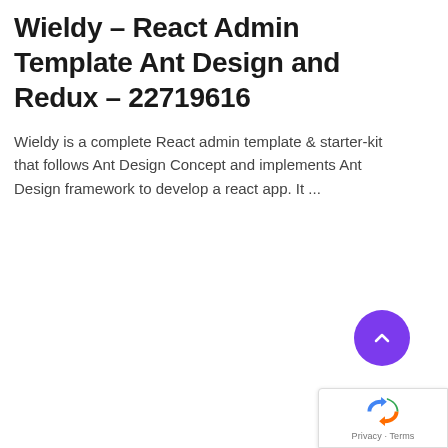Wieldy – React Admin Template Ant Design and Redux – 22719616
Wieldy is a complete React admin template & starter-kit that follows Ant Design Concept and implements Ant Design framework to develop a react app. It ...
[Figure (other): Purple circular scroll-to-top button with upward chevron arrow]
[Figure (logo): Google reCAPTCHA badge with recycling-style logo and Privacy · Terms text]